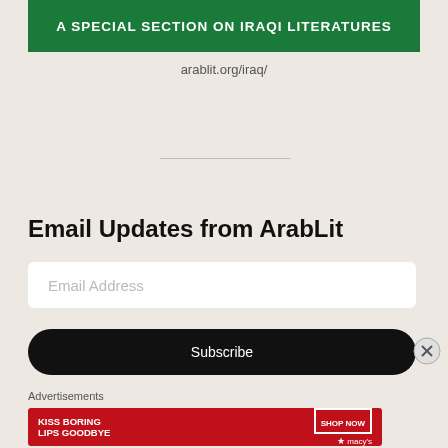[Figure (other): Green banner with white bold text: A SPECIAL SECTION ON IRAQI LITERATURES]
arablit.org/iraq/
[Figure (other): Horizontal divider line]
Email Updates from ArabLit
Email Address
Subscribe
Advertisements
[Figure (other): Macy's advertisement: KISS BORING LIPS GOODBYE with SHOP NOW button and Macy's logo on red background]